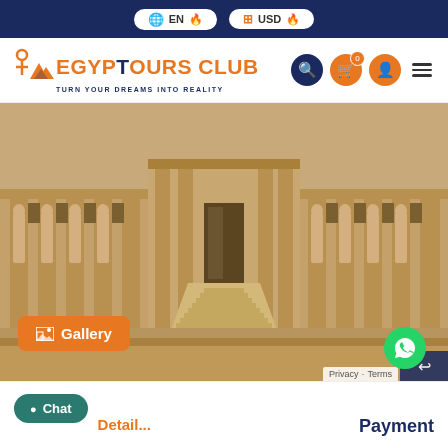EN | USD — top navigation bar with language and currency selectors
[Figure (logo): EgypTours Club logo with ankh symbol and mountain icons, orange and dark blue, tagline: TURN YOUR DREAMS INTO REALITY]
[Figure (photo): Facade of ancient Egyptian temple (Hatshepsut temple or similar) with colonnades, statues, and central ramp staircase, sandy stone color]
Gallery
Chat
Payment